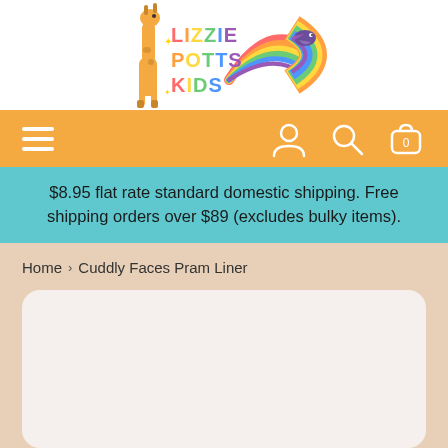[Figure (logo): Lizzie Potts Kids logo with colorful text, giraffe, rainbow and bird]
[Figure (other): Orange navigation bar with hamburger menu on left and user/search/cart icons on right]
$8.95 flat rate standard domestic shipping. Free shipping orders over $89 (excludes bulky items).
Home > Cuddly Faces Pram Liner
[Figure (other): Empty product image card with rounded corners on beige background]